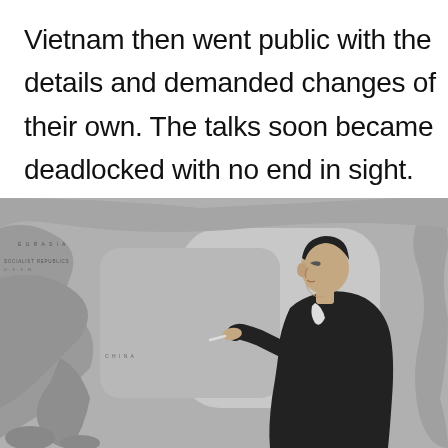Vietnam then went public with the details and demanded changes of their own. The talks soon became deadlocked with no end in sight.
[Figure (photo): Black and white photograph of a man in a dark suit standing in profile in front of a large map showing Asia and the Pacific Ocean. The word PACIFIC is partially visible on the map. The man appears to be pointing or gesturing at the map.]